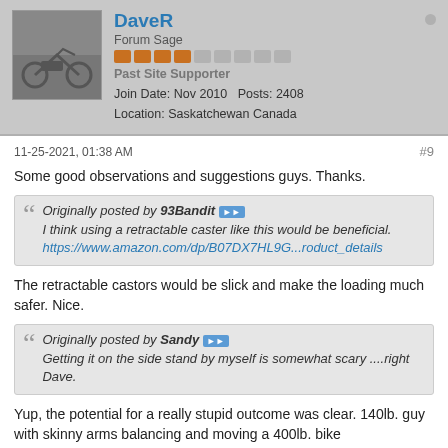DaveR | Forum Sage | Past Site Supporter | Join Date: Nov 2010 | Posts: 2408 | Location: Saskatchewan Canada
11-25-2021, 01:38 AM   #9
Some good observations and suggestions guys. Thanks.
Originally posted by 93Bandit
I think using a retractable caster like this would be beneficial.
https://www.amazon.com/dp/B07DX7HL9G...roduct_details
The retractable castors would be slick and make the loading much safer. Nice.
Originally posted by Sandy
Getting it on the side stand by myself is somewhat scary ....right Dave.
Yup, the potential for a really stupid outcome was clear. 140lb. guy with skinny arms balancing and moving a 400lb. bike